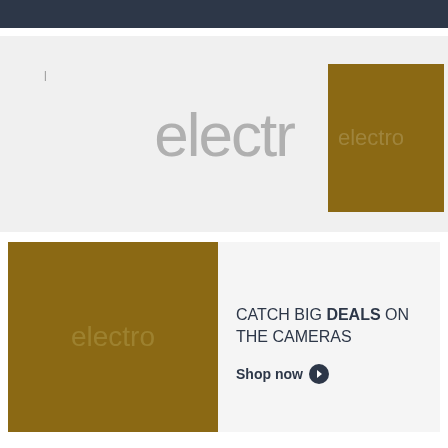[Figure (illustration): Large banner with light gray background showing partial text 'electro' in large light gray letters, overlaid with a gold/dark-yellow vertical rectangle on the right side also showing partial 'electro' text in muted tone]
[Figure (illustration): Promotional block with a gold/dark-yellow square on the left showing 'electro' text in muted tone, and on the right a text area saying 'CATCH BIG DEALS ON THE CAMERAS' with a 'Shop now' button with arrow circle]
CATCH BIG DEALS ON THE CAMERAS
Shop now